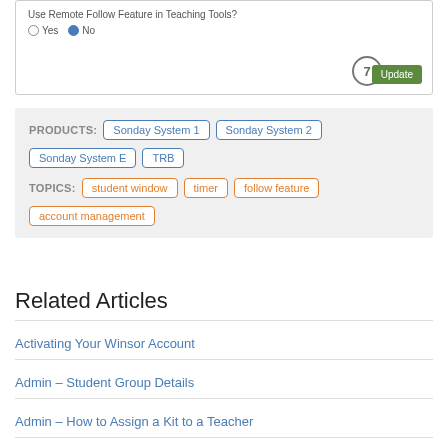[Figure (screenshot): UI screenshot showing 'Use Remote Follow Feature in Teaching Tools?' with Yes/No radio buttons (No selected), a circled number 7, and an Update button]
PRODUCTS: Sonday System 1  Sonday System 2  Sonday System E  TRB
TOPICS: student window  timer  follow feature  account management
Related Articles
Activating Your Winsor Account
Admin – Student Group Details
Admin – How to Assign a Kit to a Teacher